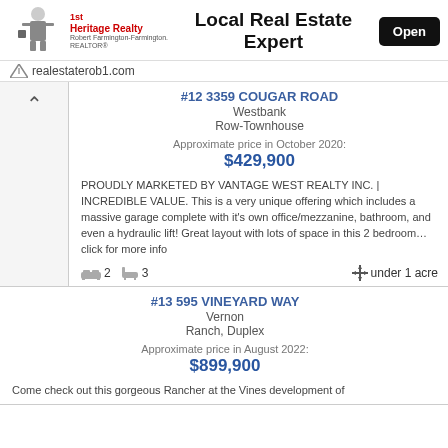Local Real Estate Expert | Open | realestaterob1.com
#12 3359 COUGAR ROAD
Westbank
Row-Townhouse
Approximate price in October 2020:
$429,900
PROUDLY MARKETED BY VANTAGE WEST REALTY INC. | INCREDIBLE VALUE. This is a very unique offering which includes a massive garage complete with it's own office/mezzanine, bathroom, and even a hydraulic lift! Great layout with lots of space in this 2 bedroom… click for more info
2 bedrooms, 3 bathrooms, under 1 acre
#13 595 VINEYARD WAY
Vernon
Ranch, Duplex
Approximate price in August 2022:
$899,900
Come check out this gorgeous Rancher at the Vines development of